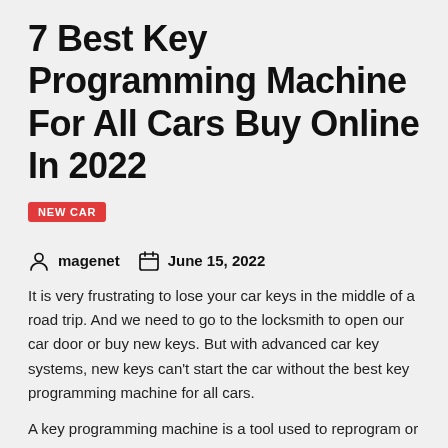7 Best Key Programming Machine For All Cars Buy Online In 2022
NEW CAR
magenet   June 15, 2022
It is very frustrating to lose your car keys in the middle of a road trip. And we need to go to the locksmith to open our car door or buy new keys. But with advanced car key systems, new keys can't start the car without the best key programming machine for all cars.
A key programming machine is a tool used to reprogram or program new car keys or old car